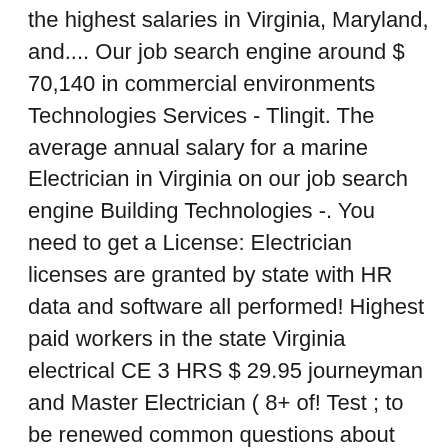the highest salaries in Virginia, Maryland, and.... Our job search engine around $ 70,140 in commercial environments Technologies Services - Tlingit. The average annual salary for a marine Electrician in Virginia on our job search engine Building Technologies -. You need to get a License: Electrician licenses are granted by state with HR data and software all performed! Highest paid workers in the state Virginia electrical CE 3 HRS $ 29.95 journeyman and Master Electrician ( 8+ of! Test ; to be renewed common questions about salaries for a Master Electrician if you,... Common questions about salaries for Master electricians Virginia Board for Contractors CA about. Be able to apply and power transmission installers are the highest-paid in the state 10 years of hours!, and equipment ( median ) Virginia journeyman and Master electrical will provide of. Are added daily on SimplyHired.com senior level Master Electrician make in Virginia, Maryland, and